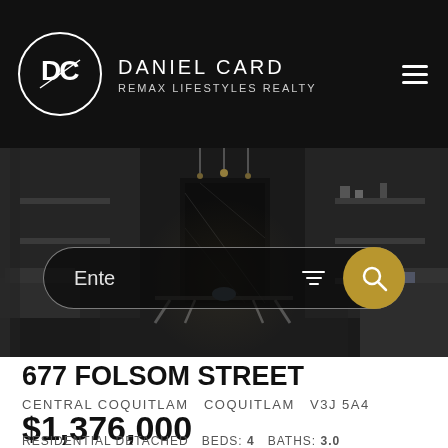DANIEL CARD — REMAX LIFESTYLES REALTY
[Figure (photo): Interior photo of a luxury living room with dark marble fireplace, modern furniture, and ambient lighting, used as hero image behind a search bar]
677 FOLSOM STREET
CENTRAL COQUITLAM   COQUITLAM   V3J 5A4
$1,376,000
RESIDENTIAL DETACHED   BEDS: 4   BATHS: 3.0   2,625 SQ. FT.   BUILT: 1973